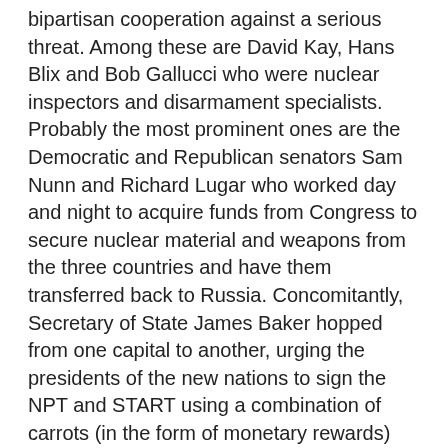bipartisan cooperation against a serious threat. Among these are David Kay, Hans Blix and Bob Gallucci who were nuclear inspectors and disarmament specialists. Probably the most prominent ones are the Democratic and Republican senators Sam Nunn and Richard Lugar who worked day and night to acquire funds from Congress to secure nuclear material and weapons from the three countries and have them transferred back to Russia. Concomitantly, Secretary of State James Baker hopped from one capital to another, urging the presidents of the new nations to sign the NPT and START using a combination of carrots (in the form of monetary rewards) and sticks (in the form of possible sanctions and threats from Russia). All three nations agreed that they were better off without nuclear weapons, and the result was a transfer of thousands of strategic and tactical weapons back to Russia. A third important and massive effort involved blending down the enriched uranium from Soviet weapons to reactor grade and shipping it back to the US for use in US nuclear reactors; Americans may be amused to know that about 10 percent of their current electricity derived from nuclear energy comes from nuclear weapons that their former foe had targeted against their cities. Curiously, the